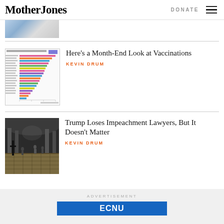Mother Jones | DONATE
[Figure (photo): Partial top image cropped at top of page]
[Figure (bar-chart): Horizontal bar chart showing COVID-19 vaccination rates by country]
Here’s a Month-End Look at Vaccinations
KEVIN DRUM
[Figure (photo): Dark interior of US Capitol Rotunda showing rioters with cross]
Trump Loses Impeachment Lawyers, But It Doesn’t Matter
KEVIN DRUM
ADVERTISEMENT